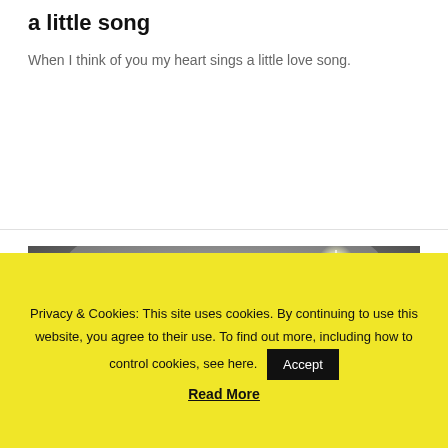a little song
When I think of you my heart sings a little love song.
[Figure (photo): Grayscale image with text 'jujugraphics' and 'what makes you different' overlaid, showing a finger with a smiley face drawn on it, with a bright star/light effect in upper right.]
Privacy & Cookies: This site uses cookies. By continuing to use this website, you agree to their use. To find out more, including how to control cookies, see here.
Accept
Read More